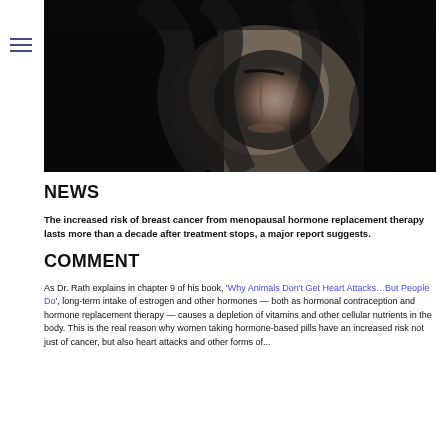[Figure (photo): Black and white close-up photo of a woman with dark hair covering part of her face, looking downward, dark moody background]
NEWS
The increased risk of breast cancer from menopausal hormone replacement therapy lasts more than a decade after treatment stops, a major report suggests.
COMMENT
As Dr. Rath explains in chapter 9 of his book, ‘Why Animals Don’t Get Heart Attacks…But People Do’, long-term intake of estrogen and other hormones — both as hormonal contraception and hormone replacement therapy — causes a depletion of vitamins and other cellular nutrients in the body. This is the real reason why women taking hormone-based pills have an increased risk not just of cancer, but also heart attacks and other forms of...